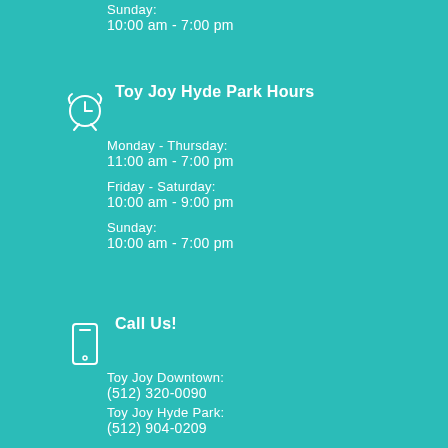Sunday:
10:00 am - 7:00 pm
Toy Joy Hyde Park Hours
Monday - Thursday:
11:00 am - 7:00 pm
Friday - Saturday:
10:00 am - 9:00 pm
Sunday:
10:00 am - 7:00 pm
Call Us!
Toy Joy Downtown:
(512) 320-0090
Toy Joy Hyde Park:
(512) 904-0209